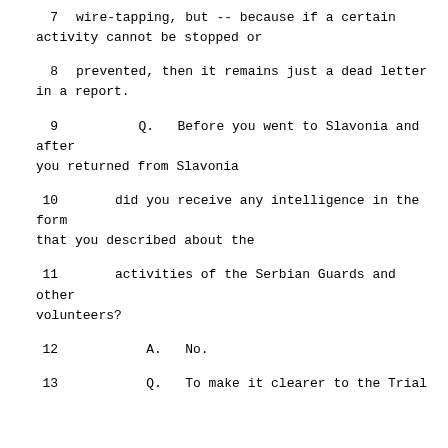7    wire-tapping, but -- because if a certain activity cannot be stopped or
8    prevented, then it remains just a dead letter in a report.
9    Q.   Before you went to Slavonia and after you returned from Slavonia
10   did you receive any intelligence in the form that you described about the
11   activities of the Serbian Guards and other volunteers?
12        A.   No.
13        Q.   To make it clearer to the Trial